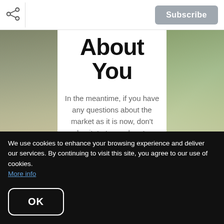[Figure (screenshot): Share icon (three connected dots) on the top left of the navigation bar]
Subscribe
About You
In the meantime, if you have any questions about the market as it is now, don't hesitate to reach out.
We use cookies to enhance your browsing experience and deliver our services. By continuing to visit this site, you agree to our use of cookies. More info
OK